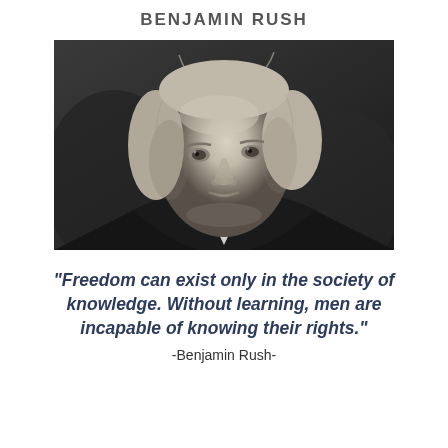BENJAMIN RUSH
[Figure (photo): Black and white portrait painting of Benjamin Rush, an 18th century American statesman, showing his face and upper body with colonial-era attire and powdered hair.]
"Freedom can exist only in the society of knowledge. Without learning, men are incapable of knowing their rights."
-Benjamin Rush-